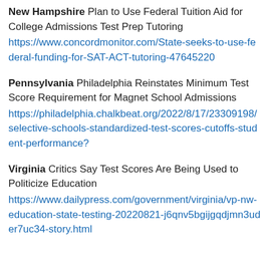New Hampshire Plan to Use Federal Tuition Aid for College Admissions Test Prep Tutoring https://www.concordmonitor.com/State-seeks-to-use-federal-funding-for-SAT-ACT-tutoring-47645220
Pennsylvania Philadelphia Reinstates Minimum Test Score Requirement for Magnet School Admissions https://philadelphia.chalkbeat.org/2022/8/17/23309198/selective-schools-standardized-test-scores-cutoffs-student-performance?
Virginia Critics Say Test Scores Are Being Used to Politicize Education https://www.dailypress.com/government/virginia/vp-nw-education-state-testing-20220821-j6qnv5bgijgqdjmn3uder7uc34-story.html